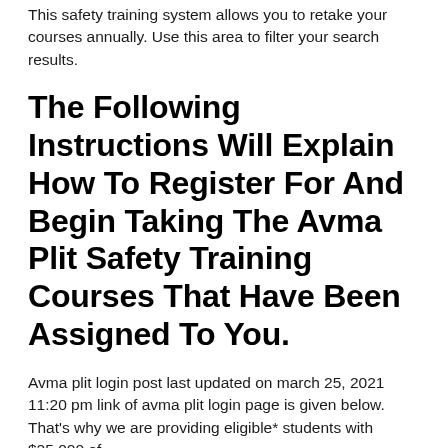This safety training system allows you to retake your courses annually. Use this area to filter your search results.
The Following Instructions Will Explain How To Register For And Begin Taking The Avma Plit Safety Training Courses That Have Been Assigned To You.
Avma plit login post last updated on march 25, 2021 11:20 pm link of avma plit login page is given below. That's why we are providing eligible* students with $25,000 of